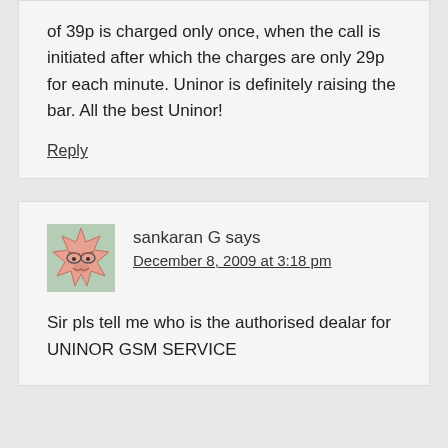of 39p is charged only once, when the call is initiated after which the charges are only 29p for each minute. Uninor is definitely raising the bar. All the best Uninor!
Reply
sankaran G says
December 8, 2009 at 3:18 pm
Sir pls tell me who is the authorised dealar for UNINOR GSM SERVICE